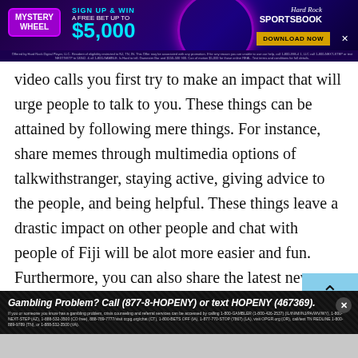[Figure (other): Hard Rock Sportsbook advertisement banner with purple/dark background, Mystery Wheel logo, 'Sign Up & Win A Free Bet Up To $5,000' text, Download Now button, and close X button]
video calls you first try to make an impact that will urge people to talk to you. These things can be attained by following mere things. For instance, share memes through multimedia options of talkwithstranger, staying active, giving advice to the people, and being helpful. These things leave a drastic impact on other people and chat with people of Fiji will be alot more easier and fun. Furthermore, you can also share the latest news or trends that are being followed in your region.
[Figure (other): Gambling disclaimer advertisement: 'Gambling Problem? Call (877-8-HOPENY) or text HOPENY (467369).' with fine print about gambling help resources]